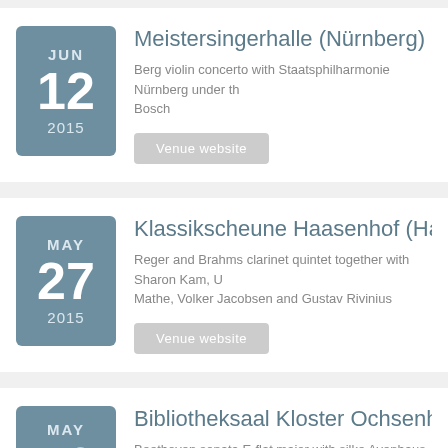JUN 12 2015 — Meistersingerhalle (Nürnberg): Berg violin concerto with Staatsphilharmonie Nürnberg under th… Bosch
MAY 27 2015 — Klassikscheune Haasenhof (Hanover): Reger and Brahms clarinet quintet together with Sharon Kam, U… Mathe, Volker Jacobsen and Gustav Rivinius
MAY 13 2015 — Bibliotheksaal Kloster Ochsenhausen (Och…): Beethoven sonata E-flat major with silke Avenhaus, piano and S… Musikfestspiele Schwäbischer Frühling